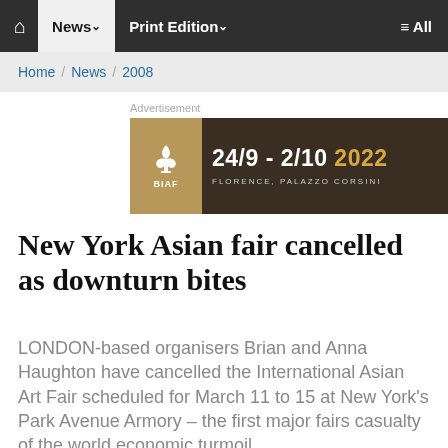🏠 News ∨  Print Edition ∨  ≡ All
Home / News / 2008
Advertisement
[Figure (other): BIAF advertisement banner: 24/9 - 2/10 2022, Florence, Palazzo Corsini]
New York Asian fair cancelled as downturn bites
LONDON-based organisers Brian and Anna Haughton have cancelled the International Asian Art Fair scheduled for March 11 to 15 at New York's Park Avenue Armory &ndash; the first major fairs casualty of the world economic turmoil